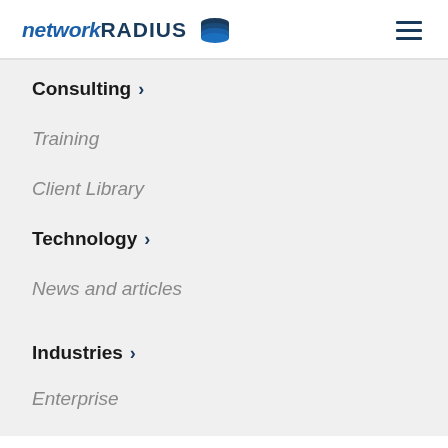networkRADIUS
Consulting >
Training
Client Library
Technology >
News and articles
Industries >
Enterprise